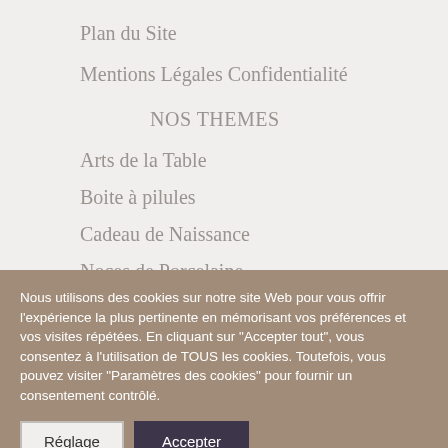Plan du Site
Mentions Légales Confidentialité
NOS THEMES
Arts de la Table
Boite à pilules
Cadeau de Naissance
Noces de Porcelaine
Nous utilisons des cookies sur notre site Web pour vous offrir l'expérience la plus pertinente en mémorisant vos préférences et vos visites répétées. En cliquant sur "Accepter tout", vous consentez à l'utilisation de TOUS les cookies. Toutefois, vous pouvez visiter "Paramètres des cookies" pour fournir un consentement contrôlé.
Réglage | Accepter